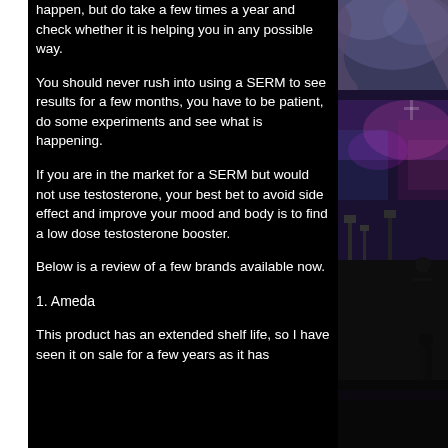happen, but do take a few times a year and check whether it is helping you in any possible way.
You should never rush into using a SERM to see results for a few months, you have to be patient, do some experiments and see what is happening.
If you are in the market for a SERM but would not use testosterone, your best bet to avoid side effect and improve your mood and body is to find a low dose testosterone booster.
Below is a review of a few brands available now.
1. Ameda
This product has an extended shelf life, so I have seen it on sale for a few years as it has
[Figure (photo): Partial view of what appears to be an orchestra or concert venue with musicians and colorful stage lighting in blue and pink tones.]